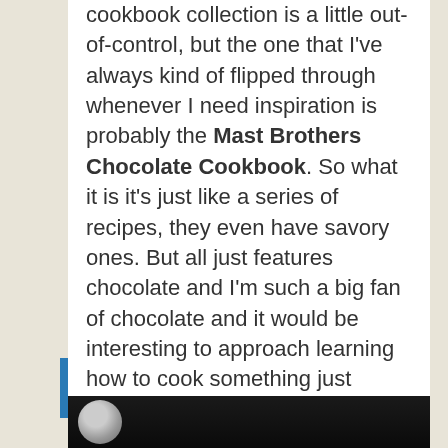cookbook collection is a little out-of-control, but the one that I've always kind of flipped through whenever I need inspiration is probably the Mast Brothers Chocolate Cookbook. So what it is it's just like a series of recipes, they even have savory ones. But all just features chocolate and I'm such a big fan of chocolate and it would be interesting to approach learning how to cook something just through one ingredient. So I think that would be really cool.
The Pressure Cooker:
[Figure (photo): Bottom strip showing a person's head/avatar against a dark background]